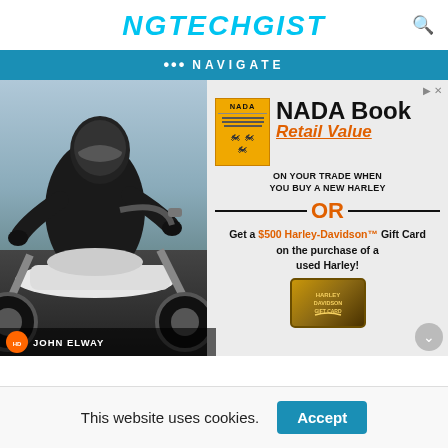NGTECHGIST
• • • NAVIGATE
[Figure (photo): Advertisement for John Elway Harley-Davidson dealer featuring a motorcyclist on a Harley, alongside a NADA Book ad offering Retail Value on trade when buying a new Harley, or a $500 Harley-Davidson Gift Card on purchase of a used Harley.]
This website uses cookies.
Accept